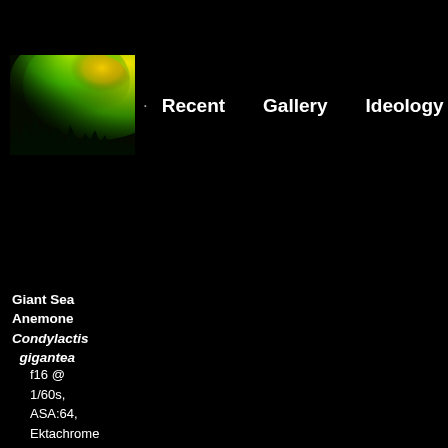[Figure (photo): Aurora borealis (northern lights) photograph showing green and yellow light streaks over dark silhouetted trees]
· Recent  Gallery  Ideology
Giant Sea Anemone
Condylactis gigantea
f16 @ 1/60s, ASA:64, Ektachrome